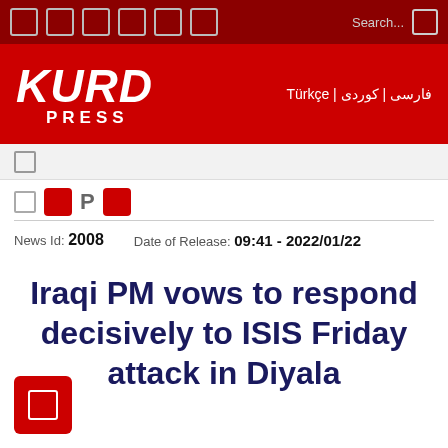KURD PRESS | Türkçe | فارسی | کوردی
[Figure (logo): KURD PRESS news logo in white italic text on red background]
News Id: 2008   Date of Release: 09:41 - 2022/01/22
Iraqi PM vows to respond decisively to ISIS Friday attack in Diyala